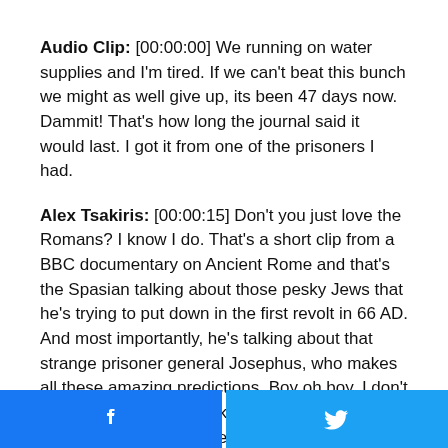Audio Clip: [00:00:00] We running on water supplies and I'm tired. If we can't beat this bunch we might as well give up, its been 47 days now. Dammit! That's how long the journal said it would last. I got it from one of the prisoners I had.
Alex Tsakiris: [00:00:15] Don't you just love the Romans? I know I do. That's a short clip from a BBC documentary on Ancient Rome and that's the Spasian talking about those pesky Jews that he's trying to put down in the first revolt in 66 AD. And most importantly, he's talking about that strange prisoner general Josephus, who makes all these amazing predictions. Boy oh boy, I don't know where to begin folks, you're gonna hear a lot on this history of Josephus, The Spasian, the fake fake history that's told to us that can be
[Figure (other): Social share buttons: Facebook (blue) and Twitter (blue) side by side at bottom of page]